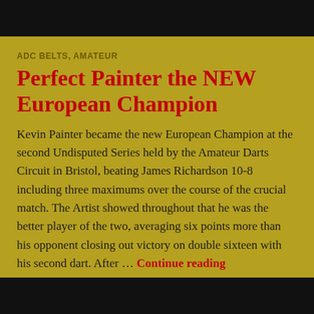ADC BELTS, AMATEUR
Perfect Painter the NEW European Champion
Kevin Painter became the new European Champion at the second Undisputed Series held by the Amateur Darts Circuit in Bristol, beating James Richardson 10-8 including three maximums over the course of the crucial match. The Artist showed throughout that he was the better player of the two, averaging six points more than his opponent closing out victory on double sixteen with his second dart. After … Continue reading
HARRYMASTERSON4 / JULY 28, 2022 / LEAVE A COMMENT